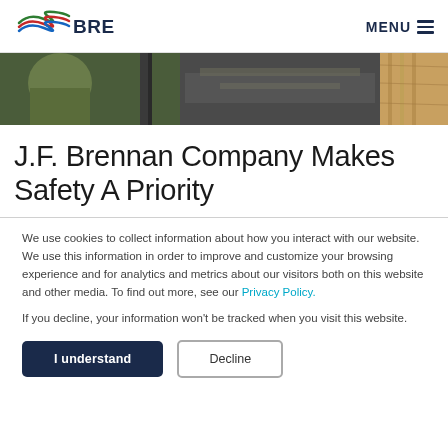BRENNAN | MENU
[Figure (photo): Industrial/construction scene showing workers near water or concrete with spray, green protective gear, and a wooden surface section.]
J.F. Brennan Company Makes Safety A Priority
We use cookies to collect information about how you interact with our website. We use this information in order to improve and customize your browsing experience and for analytics and metrics about our visitors both on this website and other media. To find out more, see our Privacy Policy.
If you decline, your information won’t be tracked when you visit this website.